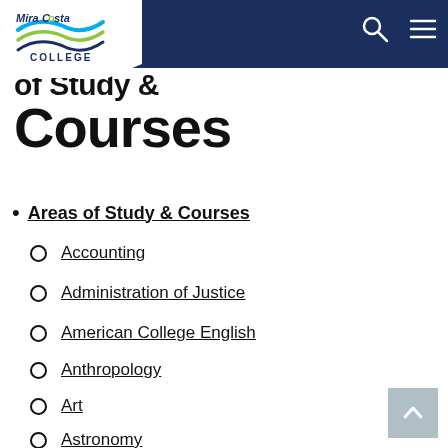MiraCosta College — navigation header
of Study & Courses
Areas of Study & Courses
Accounting
Administration of Justice
American College English
Anthropology
Art
Astronomy